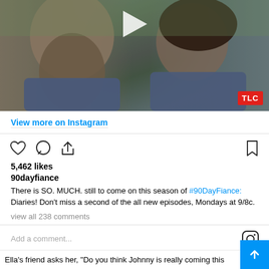[Figure (screenshot): Instagram video screenshot showing two people outdoors, a man with a long beard on the left and a woman with curly hair on the right, with a play button overlay and TLC logo badge in the bottom right corner]
View more on Instagram
[Figure (infographic): Instagram action icons row: heart (like), speech bubble (comment), share arrow on left; bookmark icon on right]
5,462 likes
90dayfiance
There is SO. MUCH. still to come on this season of #90DayFiance: Diaries! Don't miss a second of the all new episodes, Mondays at 9/8c.
view all 238 comments
Add a comment...
Ella's friend asks her, "Do you think Johnny is really coming this